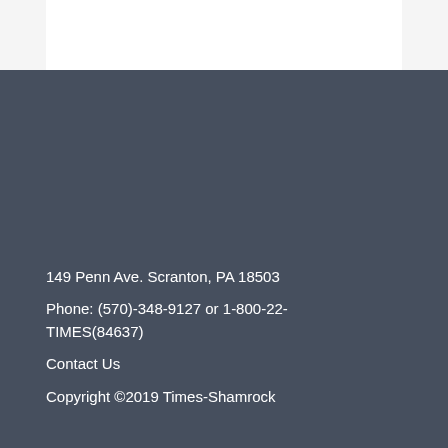149 Penn Ave. Scranton, PA 18503
Phone: (570)-348-9127 or 1-800-22-TIMES(84637)
Contact Us
Copyright ©2019 Times-Shamrock